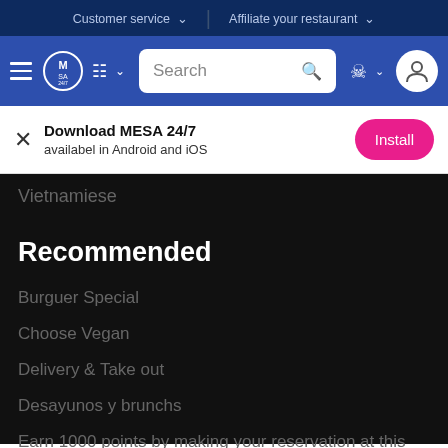Customer service  |  Affiliate your restaurant
[Figure (screenshot): MESA 24/7 website navigation bar with hamburger menu, logo, search bar, globe icon, and user profile icon]
Download MESA 24/7
availabel in Android and iOS
Vietnamiese
Recommended
Burguer Special
Choose Vegan
Delivery & Take out
Desayunos y brunchs
Earn 1000 points by making your reservation at this selected restaurant